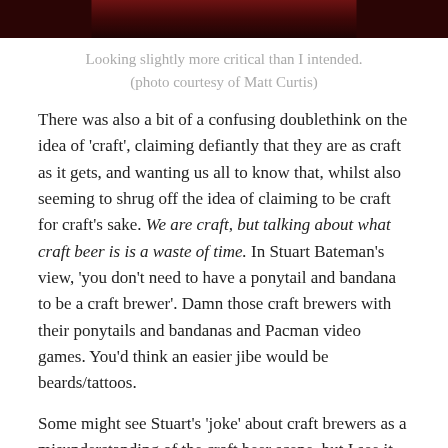[Figure (photo): Partial view of a photo showing a person, cropped at top, with dark reddish tones.]
Looking slightly more critical than I intended.
(photo courtesy of Matt Curtis)
There was also a bit of a confusing doublethink on the idea of 'craft', claiming defiantly that they are as craft as it gets, and wanting us all to know that, whilst also seeming to shrug off the idea of claiming to be craft for craft's sake. We are craft, but talking about what craft beer is is a waste of time. In Stuart Bateman's view, 'you don't need to have a ponytail and bandana to be a craft brewer'. Damn those craft brewers with their ponytails and bandanas and Pacman video games. You'd think an easier jibe would be beards/tattoos.
Some might see Stuart's 'joke' about craft brewers as a misunderstanding of the craft beer scene, but I see it more as a kind of cheerful innocence. Batemans operate in a vacuum to